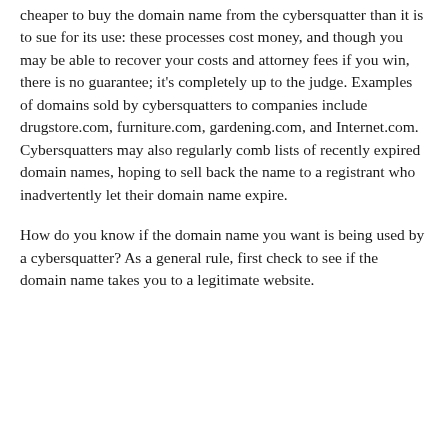cheaper to buy the domain name from the cybersquatter than it is to sue for its use: these processes cost money, and though you may be able to recover your costs and attorney fees if you win, there is no guarantee; it's completely up to the judge. Examples of domains sold by cybersquatters to companies include drugstore.com, furniture.com, gardening.com, and Internet.com. Cybersquatters may also regularly comb lists of recently expired domain names, hoping to sell back the name to a registrant who inadvertently let their domain name expire.
How do you know if the domain name you want is being used by a cybersquatter? As a general rule, first check to see if the domain name takes you to a legitimate website.